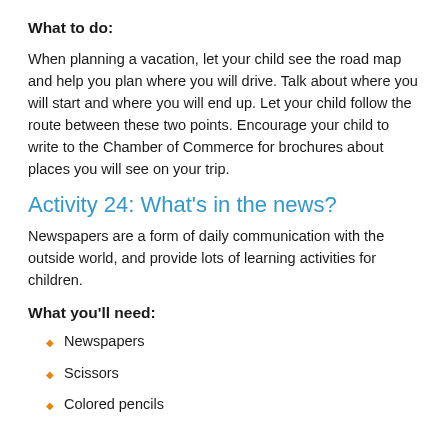What to do:
When planning a vacation, let your child see the road map and help you plan where you will drive. Talk about where you will start and where you will end up. Let your child follow the route between these two points. Encourage your child to write to the Chamber of Commerce for brochures about places you will see on your trip.
Activity 24: What's in the news?
Newspapers are a form of daily communication with the outside world, and provide lots of learning activities for children.
What you'll need:
Newspapers
Scissors
Colored pencils